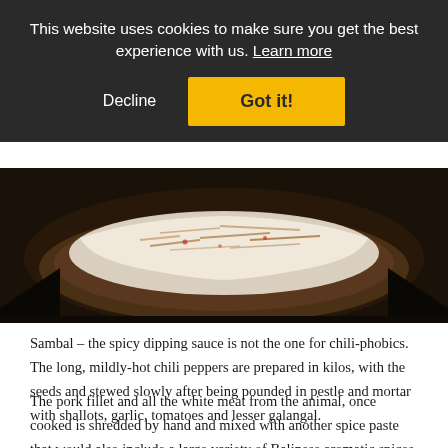This website uses cookies to make sure you get the best experience with us. Learn more
Decline   Got it!
[Figure (photo): A close-up photo of shredded meat or food in a basket/bowl lined with white paper, dark background with warm brown tones]
Sambal – the spicy dipping sauce is not the one for chili-phobics. The long, mildly-hot chili peppers are prepared in kilos, with the seeds and stewed slowly after being pounded in pestle and mortar with shallots, garlic, tomatoes and lesser galangal.
The pork fillet and all the white meat from the animal, once cooked is shredded by hand and mixed with another spice paste that would also include a large variety of Balinese aromatic spices and yes... more chili.